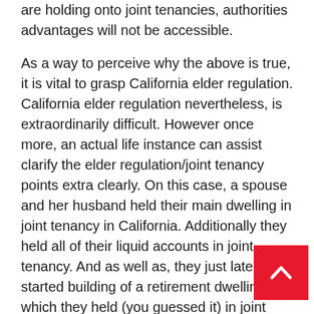are holding onto joint tenancies, authorities advantages will not be accessible.
As a way to perceive why the above is true, it is vital to grasp California elder regulation. California elder regulation nevertheless, is extraordinarily difficult. However once more, an actual life instance can assist clarify the elder regulation/joint tenancy points extra clearly. On this case, a spouse and her husband held their main dwelling in joint tenancy in California. Additionally they held all of their liquid accounts in joint tenancy. And as well as, they just lately started building of a retirement dwelling, which they held (you guessed it) in joint tenancy. The joint tenancies appeared like a superb switch plan to them, till the husband out of the blue and out nowhere suffered a debilitating mind damage. After months within the hospital (which Medicare coated), the hospital kicked him out and into